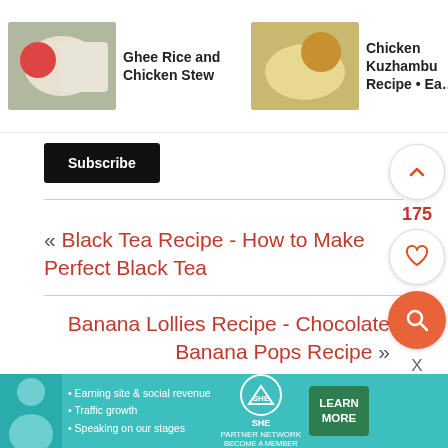[Figure (screenshot): Related recipe thumbnails strip: Ghee Rice and Chicken Stew, Chicken Kuzhambu Recipe • Ea..., Kuttanada Chicken C... Recipe]
Subscribe
« Black Tea Recipe - How to Make Perfect Black Tea
175
Banana Lollies Recipe - Chocolate Banana Pops Recipe »
[Figure (screenshot): SHE Partner Network advertisement banner: Earning site & social revenue, Traffic growth, Speaking on our stages. LEARN MORE button.]